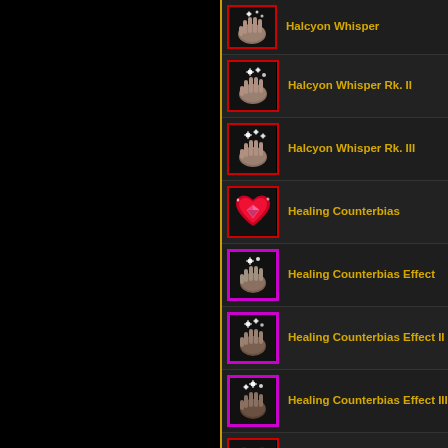Halcyon Whisper
Halcyon Whisper Rk. II
Halcyon Whisper Rk. III
Healing Counterbias
Healing Counterbias Effect
Healing Counterbias Effect II
Healing Counterbias Effect III
Healing Counterbias Rk. II
Healing Counterbias Rk. III